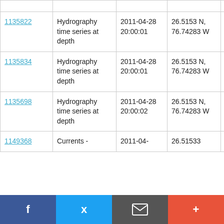| 1135822 | Hydrography time series at depth | 2011-04-28 20:00:01 | 26.5153 N, 76.74283 W | RV Knorr KN200-4 |
| 1135834 | Hydrography time series at depth | 2011-04-28 20:00:01 | 26.5153 N, 76.74283 W | RV Knorr KN200-4 |
| 1135698 | Hydrography time series at depth | 2011-04-28 20:00:02 | 26.5153 N, 76.74283 W | RV Knorr KN200-4 |
| 1149368 | Currents - | 2011-04- | 26.51533 | RV Knorr |
Facebook | Twitter | Email | Add